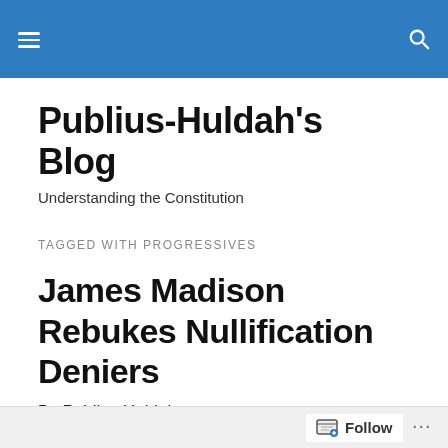Publius-Huldah's Blog [navigation bar]
Publius-Huldah's Blog
Understanding the Constitution
TAGGED WITH PROGRESSIVES
James Madison Rebukes Nullification Deniers
By Publius Huldah
This is The Age of Ignorance. Our “intellectuals” can’t think. Our “leaders” can’t lead and
Follow